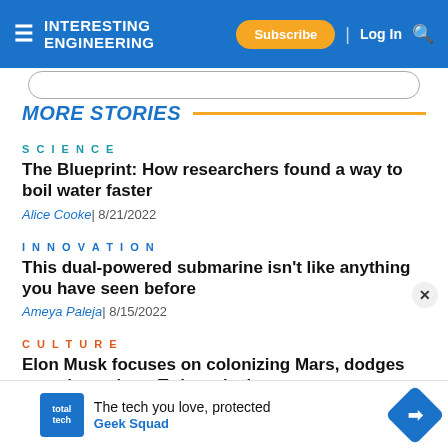Interesting Engineering — Subscribe | Log In
MORE STORIES
SCIENCE
The Blueprint: How researchers found a way to boil water faster
Alice Cooke| 8/21/2022
INNOVATION
This dual-powered submarine isn't like anything you have seen before
Ameya Paleja| 8/15/2022
CULTURE
Elon Musk focuses on colonizing Mars, dodges questions about Twitter deal
Ameya Paleja| 7/11/2022
The tech you love, protected — Geek Squad